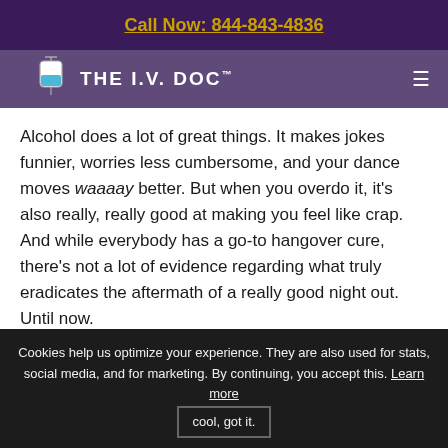Call Now: 844-843-4836
[Figure (logo): The I.V. Doc logo with IV bag icon and TM mark on purple navigation bar with hamburger menu]
Alcohol does a lot of great things. It makes jokes funnier, worries less cumbersome, and your dance moves waaaay better. But when you overdo it, it's also really, really good at making you feel like crap. And while everybody has a go-to hangover cure, there's not a lot of evidence regarding what truly eradicates the aftermath of a really good night out. Until now.
read more
[Figure (logo): Bravo TV logo — pink text with red/pink decorative bar beneath]
Cookies help us optimize your experience. They are also used for stats, social media, and for marketing. By continuing, you accept this. Learn more   cool, got it.